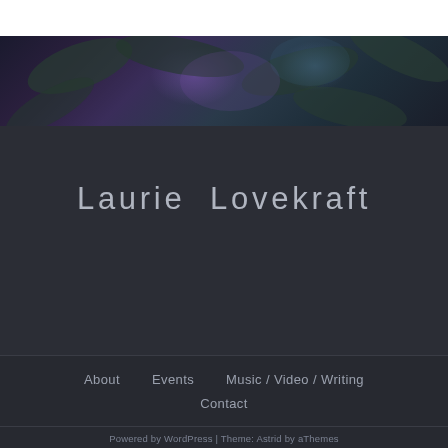[Figure (photo): Dark background photo with blurred leaves and purple/teal bokeh lighting effects]
Laurie Lovekraft
About
Events
Music / Video / Writing
Contact
Powered by WordPress | Theme: Astrid by aThemes